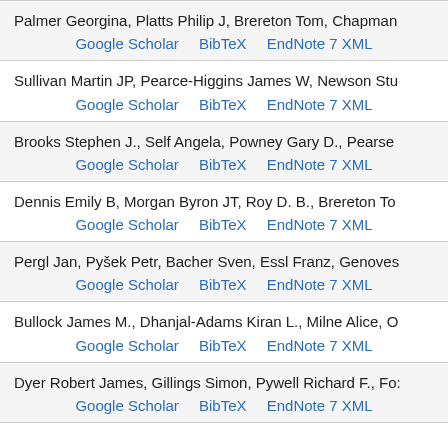Palmer Georgina, Platts Philip J, Brereton Tom, Chapman
Google Scholar  BibTeX  EndNote 7 XML
Sullivan Martin JP, Pearce-Higgins James W, Newson Stu
Google Scholar  BibTeX  EndNote 7 XML
Brooks Stephen J., Self Angela, Powney Gary D., Pearse
Google Scholar  BibTeX  EndNote 7 XML
Dennis Emily B, Morgan Byron JT, Roy D. B., Brereton To
Google Scholar  BibTeX  EndNote 7 XML
Pergl Jan, Pyšek Petr, Bacher Sven, Essl Franz, Genoves
Google Scholar  BibTeX  EndNote 7 XML
Bullock James M., Dhanjal-Adams Kiran L., Milne Alice, O
Google Scholar  BibTeX  EndNote 7 XML
Dyer Robert James, Gillings Simon, Pywell Richard F., Fo:
Google Scholar  BibTeX  EndNote 7 XML